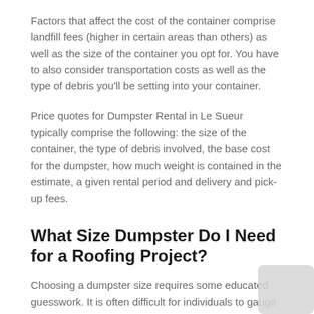Factors that affect the cost of the container comprise landfill fees (higher in certain areas than others) as well as the size of the container you opt for. You have to also consider transportation costs as well as the type of debris you'll be setting into your container.
Price quotes for Dumpster Rental in Le Sueur typically comprise the following: the size of the container, the type of debris involved, the base cost for the dumpster, how much weight is contained in the estimate, a given rental period and delivery and pick-up fees.
What Size Dumpster Do I Need for a Roofing Project?
Choosing a dumpster size requires some educated guesswork. It is often difficult for individuals to gauge the sizes that they need for roofing projects because, practically, they don't know just how much material their roofs include.